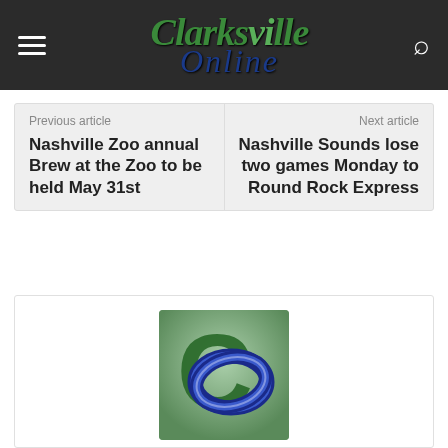Clarksville Online
Previous article
Nashville Zoo annual Brew at the Zoo to be held May 31st
Next article
Nashville Sounds lose two games Monday to Round Rock Express
[Figure (logo): Clarksville Online logo: green letter C with blue stylized O overlapping, on a green square background]
News Staff
http://www.clarksvilleonline.com